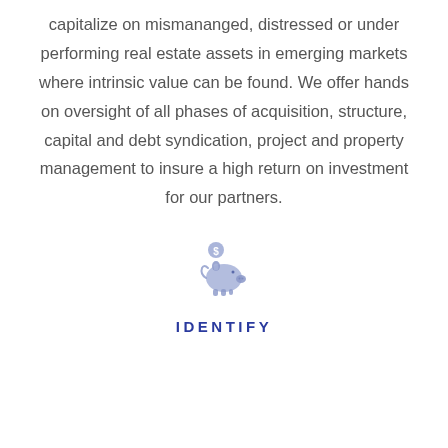capitalize on mismananged, distressed or under performing real estate assets in emerging markets where intrinsic value can be found. We offer hands on oversight of all phases of acquisition, structure, capital and debt syndication, project and property management to insure a high return on investment for our partners.
[Figure (illustration): A piggy bank icon in muted blue-purple tones with a dollar sign symbol on its side]
IDENTIFY